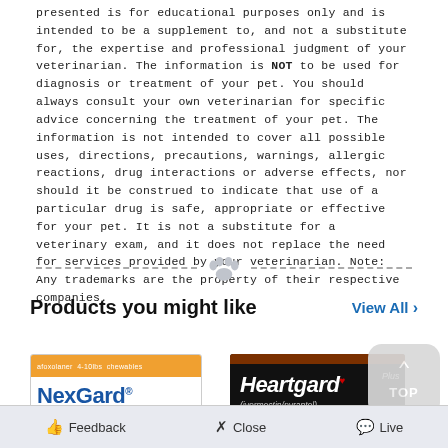presented is for educational purposes only and is intended to be a supplement to, and not a substitute for, the expertise and professional judgment of your veterinarian. The information is NOT to be used for diagnosis or treatment of your pet. You should always consult your own veterinarian for specific advice concerning the treatment of your pet. The information is not intended to cover all possible uses, directions, precautions, warnings, allergic reactions, drug interactions or adverse effects, nor should it be construed to indicate that use of a particular drug is safe, appropriate or effective for your pet. It is not a substitute for a veterinary exam, and it does not replace the need for services provided by your veterinarian. Note: Any trademarks are the property of their respective companies.
[Figure (illustration): Decorative paw print icon centered between two dashed horizontal lines]
Products you might like
View All >
[Figure (photo): NexGard product box with orange strip and blue brand name]
[Figure (photo): Heartgard Plus product box with black background and white italic brand name]
[Figure (other): TOP scroll-to-top button with upward arrow]
Feedback   Close   Live